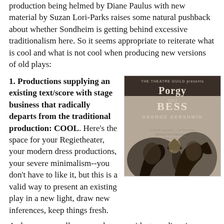production being helmed by Diane Paulus with new material by Suzan Lori-Parks raises some natural pushback about whether Sondheim is getting behind excessive traditionalism here. So it seems appropriate to reiterate what is cool and what is not cool when producing new versions of old plays:
1. Productions supplying an existing text/score with stage business that radically departs from the traditional production: COOL. Here's the space for your Regietheater, your modern dress productions, your severe minimalism--you don't have to like it, but this is a valid way to present an existing play in a new light, draw new inferences, keep things fresh. As long as you allow some leeway with stage directions, there's really no theoretical daylight between a "traditional" version produced 100 years after the fact and a
[Figure (photo): Vintage sepia-toned poster for 'Porgy and Bess' presented by The Theatre Guild. Credits George Gershwin, DuBose Heyward, DuBose Heyward and Ira Gershwin. Features stylized art deco imagery of figures.]